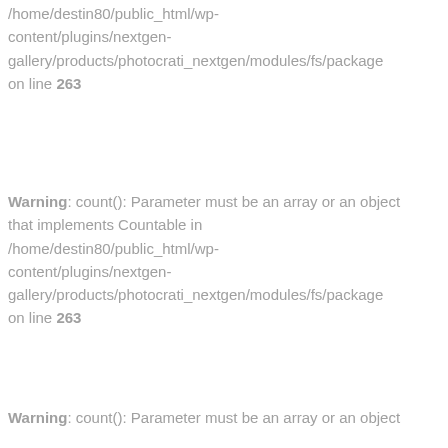/home/destin80/public_html/wp-content/plugins/nextgen-gallery/products/photocrati_nextgen/modules/fs/package on line 263
Warning: count(): Parameter must be an array or an object that implements Countable in /home/destin80/public_html/wp-content/plugins/nextgen-gallery/products/photocrati_nextgen/modules/fs/package on line 263
Warning: count(): Parameter must be an array or an object